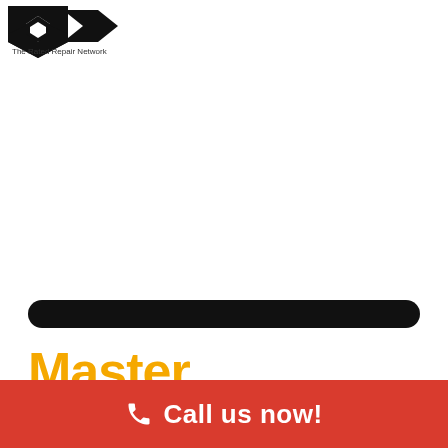[Figure (logo): Company logo with stylized arrow/diamond shape and text 'The Rated Repair Network']
[Figure (other): Black rounded rectangle bar as decorative separator]
Master Property
Call us now!